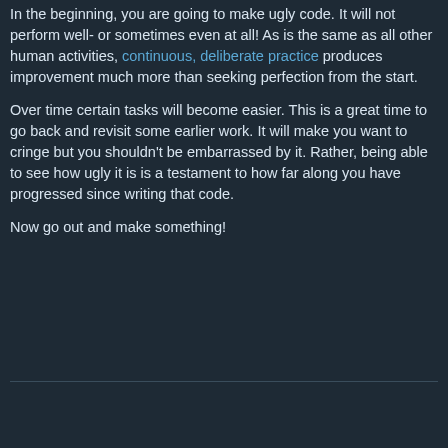In the beginning, you are going to make ugly code. It will not perform well- or sometimes even at all! As is the same as all other human activities, continuous, deliberate practice produces improvement much more than seeking perfection from the start.
Over time certain tasks will become easier. This is a great time to go back and revisit some earlier work. It will make you want to cringe but you shouldn't be embarrassed by it. Rather, being able to see how ugly it is is a testament to how far along you have progressed since writing that code.
Now go out and make something!